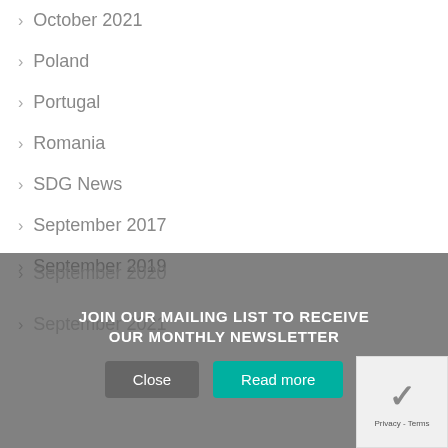October 2021
Poland
Portugal
Romania
SDG News
September 2017
September 2019
September 2020
September 2021
JOIN OUR MAILING LIST TO RECEIVE OUR MONTHLY NEWSLETTER
Close
Read more